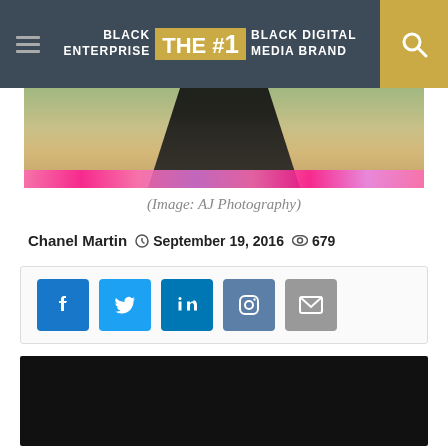BLACK ENTERPRISE — THE #1 BLACK DIGITAL MEDIA BRAND
[Figure (photo): Top portion of photo showing a person in dark clothing with colorful flowers in the background]
(Image: AJ Photography)
Chanel Martin  September 19, 2016  679
[Figure (screenshot): Social share buttons: Facebook, Twitter, LinkedIn, Instagram, Email]
[Figure (photo): Video player showing a man wearing sunglasses, with playback controls (previous, play, next) and a chat button overlay]